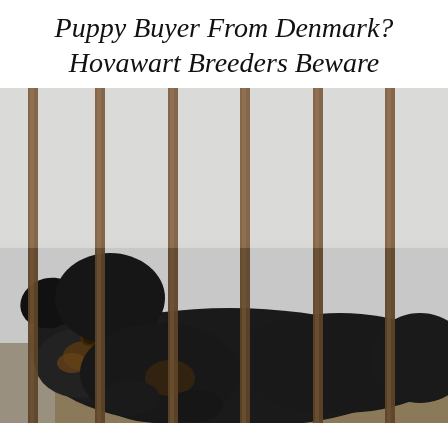Puppy Buyer From Denmark? Hovawart Breeders Beware
[Figure (photo): A black puppy lying down behind vertical metal cage bars, resting its head on the ground. The background shows a concrete/stone wall. The floor has gravel and dried leaves. The puppy has tan/brown markings on its face, consistent with a Hovawart breed.]